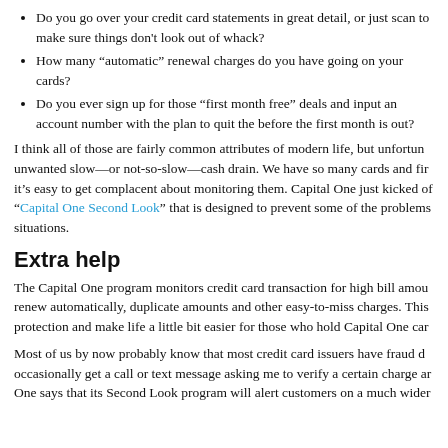Do you go over your credit card statements in great detail, or just scan to make sure things don't look out of whack?
How many “automatic” renewal charges do you have going on your cards?
Do you ever sign up for those “first month free” deals and input an account number with the plan to quit the before the first month is out?
I think all of those are fairly common attributes of modern life, but unfortun unwanted slow—or not-so-slow—cash drain. We have so many cards and fir it’s easy to get complacent about monitoring them. Capital One just kicked of “Capital One Second Look” that is designed to prevent some of the problems situations.
Extra help
The Capital One program monitors credit card transaction for high bill amou renew automatically, duplicate amounts and other easy-to-miss charges. This protection and make life a little bit easier for those who hold Capital One car
Most of us by now probably know that most credit card issuers have fraud d occasionally get a call or text message asking me to verify a certain charge ar One says that its Second Look program will alert customers on a much wider